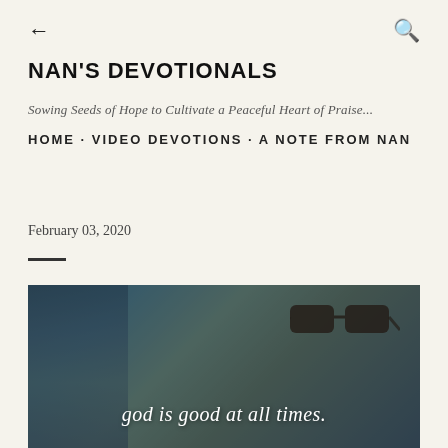← (back arrow)   🔍 (search icon)
NAN'S DEVOTIONALS
Sowing Seeds of Hope to Cultivate a Peaceful Heart of Praise...
HOME · VIDEO DEVOTIONS · A NOTE FROM NAN
February 03, 2020
[Figure (photo): Photograph of coffee cup and glasses on a table with text overlay reading 'god is good at all times.' in white cursive script]